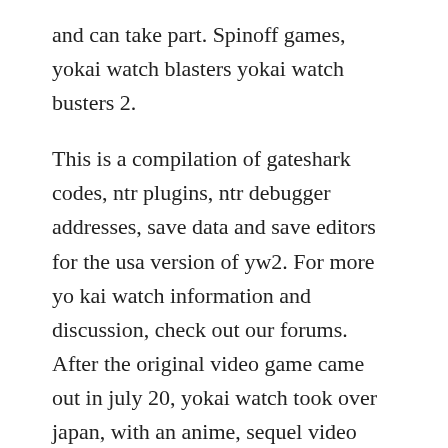and can take part. Spinoff games, yokai watch blasters yokai watch busters 2.
This is a compilation of gateshark codes, ntr plugins, ntr debugger addresses, save data and save editors for the usa version of yw2. For more yo kai watch information and discussion, check out our forums. After the original video game came out in july 20, yokai watch took over japan, with an anime, sequel video games released while the original was still selling well, a collectible card game, a collectible card game that ties into an arcade